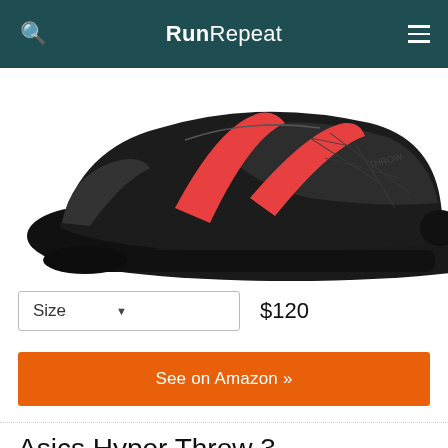RunRepeat
[Figure (photo): Close-up of an Asics Hyper Throw 3 athletic shoe in black with red/coral stripe details, shown on white background]
Size ▾   $120
See on Amazon »
Asics Hyper Throw 3
86  Great  (375 reviews)